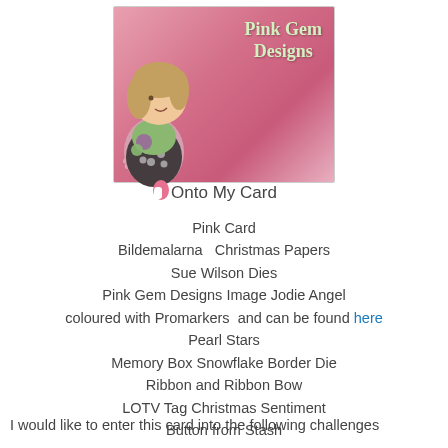[Figure (illustration): Pink Gem Designs logo with a cartoon girl doll sitting with flowers, on a pink background. White/green text reads Pink Gem Designs.]
Onto My Card
Pink Card
Bildemalarna   Christmas Papers
Sue Wilson Dies
Pink Gem Designs Image Jodie Angel
coloured with Promarkers  and can be found here
Pearl Stars
Memory Box Snowflake Border Die
Ribbon and Ribbon Bow
LOTV Tag Christmas Sentiment
Button from Stash
I would like to enter this card into the following challenges